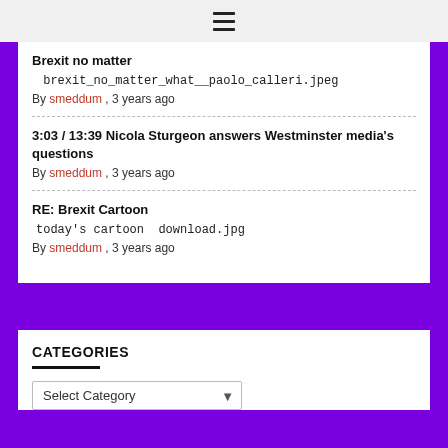≡ (hamburger menu)
Brexit no matter
 brexit_no_matter_what__paolo_calleri.jpeg
By smeddum , 3 years ago
3:03 / 13:39 Nicola Sturgeon answers Westminster media's questions
By smeddum , 3 years ago
RE: Brexit Cartoon
today's cartoon  download.jpg
By smeddum , 3 years ago
CATEGORIES
Select Category